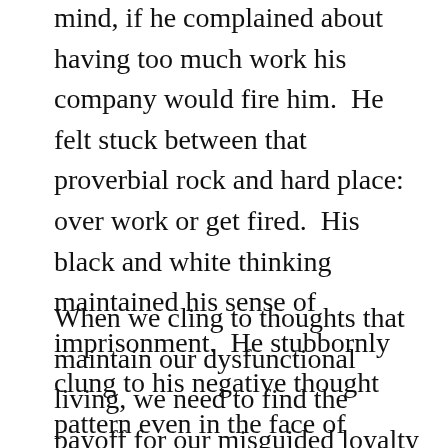mind, if he complained about having too much work his company would fire him. He felt stuck between that proverbial rock and hard place: over work or get fired. His black and white thinking maintained his sense of imprisonment. He stubbornly clung to his negative thought pattern even in the face of evidence that his work was highly valued by his company and their voiced awareness that he would need an assistant.
When we cling to thoughts that maintain our dysfunctional living, we need to find the payoff for our misguided loyalty to those thoughts. In this case, Jerry feared confrontation and hardly ever asserted himself. So long as the thought of getting fired persisted, he did not have to